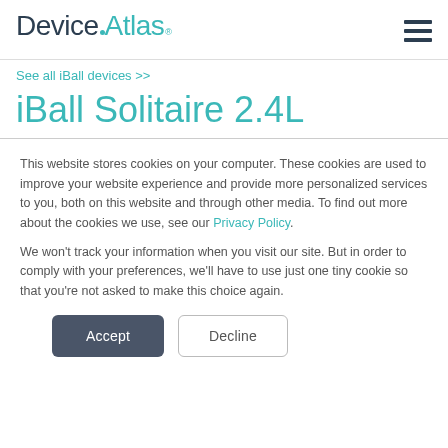DeviceAtlas
See all iBall devices >>
iBall Solitaire 2.4L
This website stores cookies on your computer. These cookies are used to improve your website experience and provide more personalized services to you, both on this website and through other media. To find out more about the cookies we use, see our Privacy Policy.

We won't track your information when you visit our site. But in order to comply with your preferences, we'll have to use just one tiny cookie so that you're not asked to make this choice again.
Accept | Decline